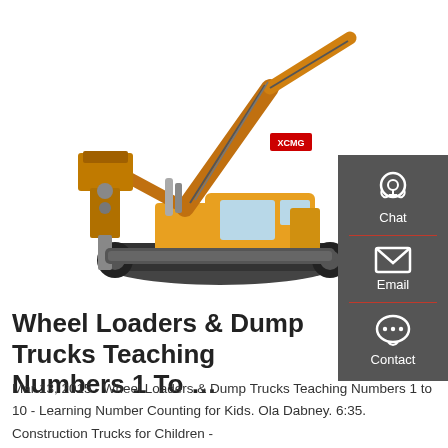[Figure (photo): Yellow XCMG tracked excavator with hydraulic breaker attachment on a white background]
[Figure (infographic): Dark grey sidebar with Chat, Email, and Contact buttons with icons]
Wheel Loaders & Dump Trucks Teaching Numbers 1 To …
Mar 13, 2015 · Wheel Loaders & Dump Trucks Teaching Numbers 1 to 10 - Learning Number Counting for Kids. Ola Dabney. 6:35. Construction Trucks for Children -